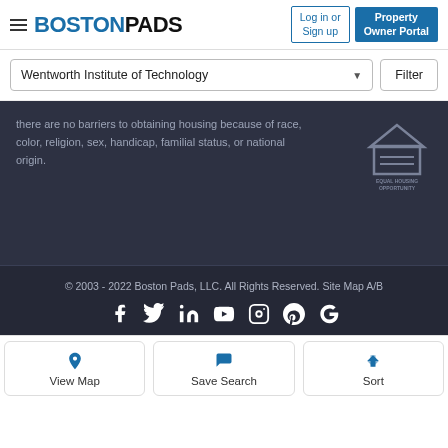BOSTONPADS — Log in or Sign up | Property Owner Portal
Wentworth Institute of Technology
Filter
there are no barriers to obtaining housing because of race, color, religion, sex, handicap, familial status, or national origin.
[Figure (logo): Equal Housing Opportunity logo]
© 2003 - 2022 Boston Pads, LLC. All Rights Reserved. Site Map A/B
[Figure (infographic): Social media icons: Facebook, Twitter, LinkedIn, YouTube, Instagram, Pinterest, Google]
View Map
Save Search
Sort